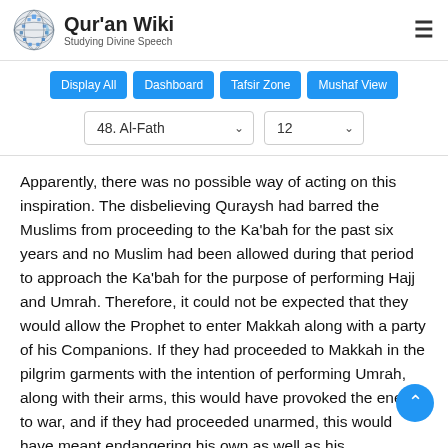Qur'an Wiki — Studying Divine Speech
[Figure (logo): Qur'an Wiki globe logo with text 'Qur'an Wiki' and subtitle 'Studying Divine Speech']
Display All | Dashboard | Tafsir Zone | Mushaf View (navigation buttons)
48. Al-Fath (dropdown) | 12 (dropdown)
Apparently, there was no possible way of acting on this inspiration. The disbelieving Quraysh had barred the Muslims from proceeding to the Ka'bah for the past six years and no Muslim had been allowed during that period to approach the Ka'bah for the purpose of performing Hajj and Umrah. Therefore, it could not be expected that they would allow the Prophet to enter Makkah along with a party of his Companions. If they had proceeded to Makkah in the pilgrim garments with the intention of performing Umrah, along with their arms, this would have provoked the enemy to war, and if they had proceeded unarmed, this would have meant endangering his own as well as his Companions' lives. Under conditions such as these nobody could see and